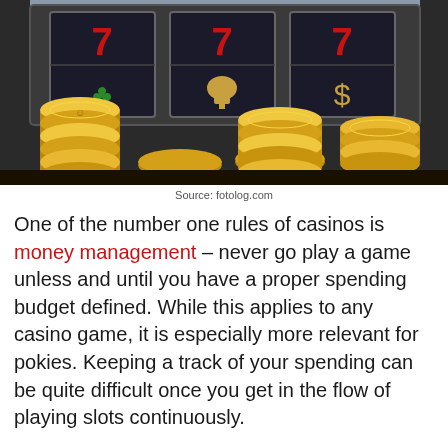[Figure (photo): Slot machine showing 7-7-7 with gold coins piled below]
Source: fotolog.com
One of the number one rules of casinos is money management – never go play a game unless and until you have a proper spending budget defined. While this applies to any casino game, it is especially more relevant for pokies. Keeping a track of your spending can be quite difficult once you get in the flow of playing slots continuously.